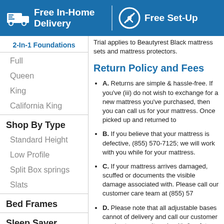Free In-Home Delivery | Free Set-Up
2-In-1 Foundations
Full
Queen
King
California King
Shop By Type
Standard Height
Low Profile
Split Box springs
Slats
Bed Frames
Sleep Saver
Trial applies to Beautyrest Black mattress sets and mattress protectors.
Return Policy and Fees
A. Returns are simple & hassle-free. If you've (iii) do not wish to exchange for a new mattress you've purchased, then you can call us for your mattress. Once picked up and returned to
B. If you believe that your mattress is defective, (855) 570-7125; we will work with you while for your mattress.
C. If your mattress arrives damaged, scuffed or documents the visible damage associated with. Please call our customer care team at (855) 57
D. Please note that all adjustable bases cannot of delivery and call our customer service team sanitary, health & safety reasons.